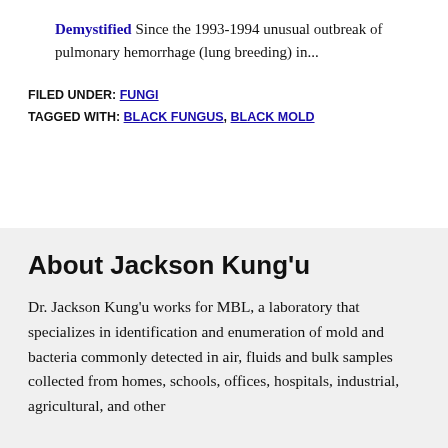Demystified Since the 1993-1994 unusual outbreak of pulmonary hemorrhage (lung breeding) in...
FILED UNDER: FUNGI
TAGGED WITH: BLACK FUNGUS, BLACK MOLD
About Jackson Kung'u
Dr. Jackson Kung'u works for MBL, a laboratory that specializes in identification and enumeration of mold and bacteria commonly detected in air, fluids and bulk samples collected from homes, schools, offices, hospitals, industrial, agricultural, and other